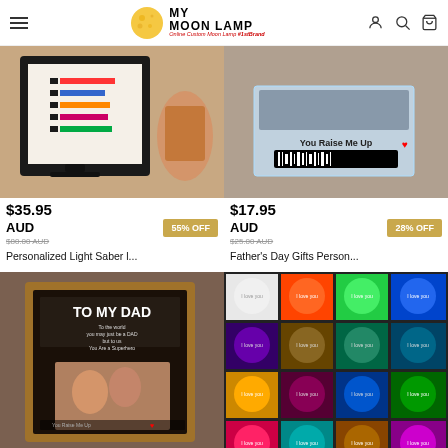My Moon Lamp - Online Custom Moon Lamp #1stBrand
[Figure (photo): Product photo of Personalized Light Saber display with colorful bars on a tablet stand]
[Figure (photo): Product photo of Father's Day gift acrylic with Spotify code and You Raise Me Up text]
$35.95 AUD   55% OFF
$80.00 AUD
Personalized Light Saber I...
$17.95 AUD   28% OFF
$25.00 AUD
Father's Day Gifts Person...
[Figure (photo): Product photo of TO MY DAD illuminated wooden frame with photo and Spotify code]
[Figure (photo): Product photo of I Love You moon lamps in a grid of 16 different colors]